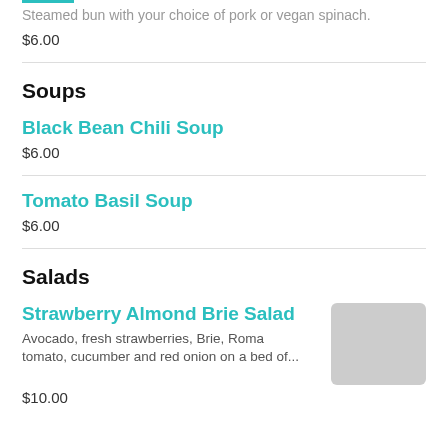Steamed bun with your choice of pork or vegan spinach.
$6.00
Soups
Black Bean Chili Soup
$6.00
Tomato Basil Soup
$6.00
Salads
Strawberry Almond Brie Salad
Avocado, fresh strawberries, Brie, Roma tomato, cucumber and red onion on a bed of...
$10.00